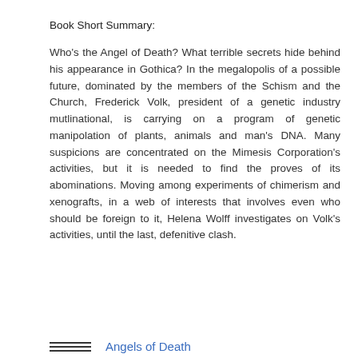Book Short Summary:
Who's the Angel of Death? What terrible secrets hide behind his appearance in Gothica? In the megalopolis of a possible future, dominated by the members of the Schism and the Church, Frederick Volk, president of a genetic industry mutlinational, is carrying on a program of genetic manipolation of plants, animals and man's DNA. Many suspicions are concentrated on the Mimesis Corporation's activities, but it is needed to find the proves of its abominations. Moving among experiments of chimerism and xenografts, in a web of interests that involves even who should be foreign to it, Helena Wolff investigates on Volk's activities, until the last, defenitive clash.
Angels of Death